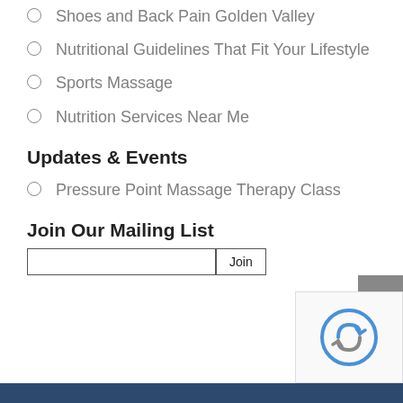Shoes and Back Pain Golden Valley
Nutritional Guidelines That Fit Your Lifestyle
Sports Massage
Nutrition Services Near Me
Updates & Events
Pressure Point Massage Therapy Class
Join Our Mailing List